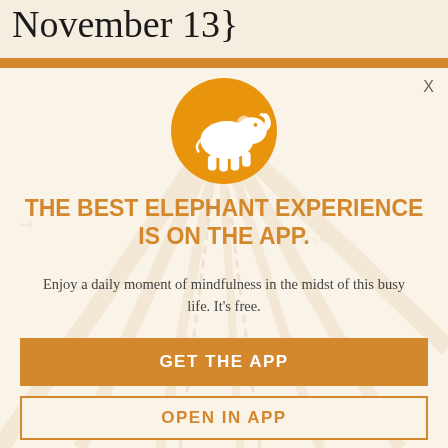November 13}
[Figure (screenshot): App promotion modal overlay with orange elephant logo on a cream/beige background. Contains headline, subtext, and two buttons.]
THE BEST ELEPHANT EXPERIENCE IS ON THE APP.
Enjoy a daily moment of mindfulness in the midst of this busy life. It's free.
GET THE APP
OPEN IN APP